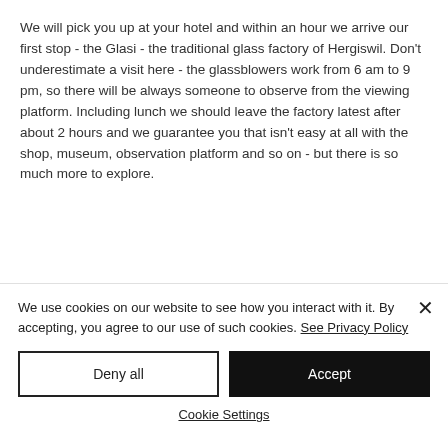We will pick you up at your hotel and within an hour we arrive our first stop - the Glasi - the traditional glass factory of Hergiswil. Don't underestimate a visit here - the glassblowers work from 6 am to 9 pm, so there will be always someone to observe from the viewing platform. Including lunch we should leave the factory latest after about 2 hours and we guarantee you that isn't easy at all with the shop, museum, observation platform and so on - but there is so much more to explore.
We use cookies on our website to see how you interact with it. By accepting, you agree to our use of such cookies. See Privacy Policy
Deny all
Accept
Cookie Settings